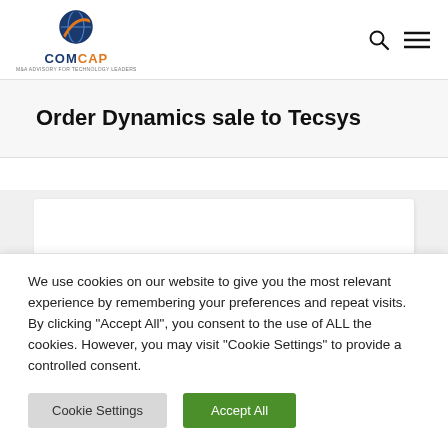COMCAP — navigation bar with logo, search icon, and menu icon
Order Dynamics sale to Tecsys
[Figure (screenshot): White content card area on light grey background, partially visible]
We use cookies on our website to give you the most relevant experience by remembering your preferences and repeat visits. By clicking "Accept All", you consent to the use of ALL the cookies. However, you may visit "Cookie Settings" to provide a controlled consent.
Cookie Settings    Accept All